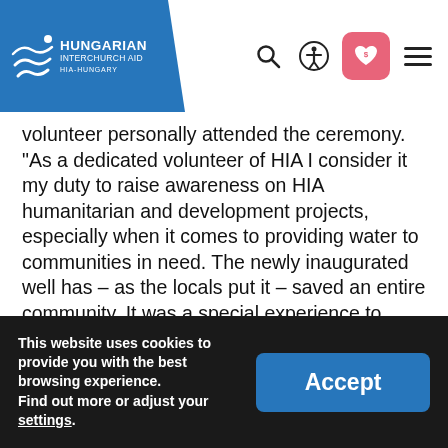Hungarian Interchurch Aid – HIA-Hungary
volunteer personally attended the ceremony. "As a dedicated volunteer of HIA I consider it my duty to raise awareness on HIA humanitarian and development projects, especially when it comes to providing water to communities in need. The newly inaugurated well has – as the locals put it – saved an entire community. It was a special experience to personally attend this ceremony, which coincidentally fell on my birthday. Seeing the joy in the eyes of community members and the children – I could hardly have wished for a better gift."
This website uses cookies to provide you with the best browsing experience. Find out more or adjust your settings.